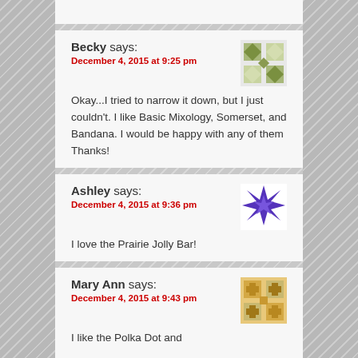Becky says:
December 4, 2015 at 9:25 pm
Okay...I tried to narrow it down, but I just couldn't. I like Basic Mixology, Somerset, and Bandana. I would be happy with any of them Thanks!
Ashley says:
December 4, 2015 at 9:36 pm
I love the Prairie Jolly Bar!
Mary Ann says:
December 4, 2015 at 9:43 pm
I like the Polka Dot and